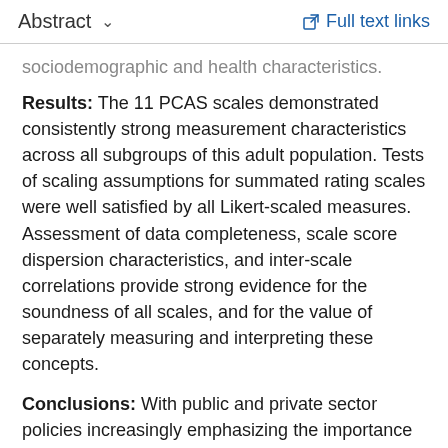Abstract  ∨    Full text links
sociodemographic and health characteristics.
Results: The 11 PCAS scales demonstrated consistently strong measurement characteristics across all subgroups of this adult population. Tests of scaling assumptions for summated rating scales were well satisfied by all Likert-scaled measures. Assessment of data completeness, scale score dispersion characteristics, and inter-scale correlations provide strong evidence for the soundness of all scales, and for the value of separately measuring and interpreting these concepts.
Conclusions: With public and private sector policies increasingly emphasizing the importance of primary care, the need for tools to evaluate and improve primary care performance is clear. The PCAS has excellent measurement properties, and performs consistently well across varied segments of the adult population.